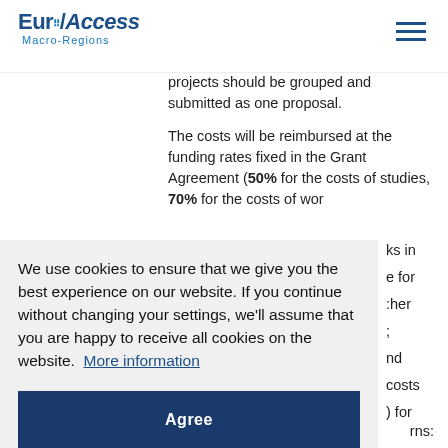EuroAccess Macro-Regions
projects should be grouped and submitted as one proposal.
The costs will be reimbursed at the funding rates fixed in the Grant Agreement (50% for the costs of studies, 70% for the costs of works in ...
We use cookies to ensure that we give you the best experience on our website. If you continue without changing your settings, we'll assume that you are happy to receive all cookies on the website.  More information
Agree
rns: